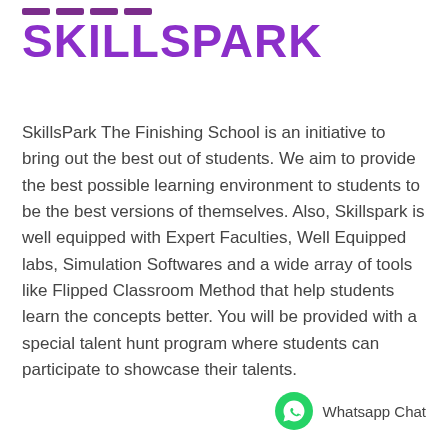SKILLSPARK
SkillsPark The Finishing School is an initiative to bring out the best out of students. We aim to provide the best possible learning environment to students to be the best versions of themselves. Also, Skillspark is well equipped with Expert Faculties, Well Equipped labs, Simulation Softwares and a wide array of tools like Flipped Classroom Method that help students learn the concepts better. You will be provided with a special talent hunt program where students can participate to showcase their talents.
[Figure (logo): WhatsApp chat button with green phone icon and label 'Whatsapp Chat']